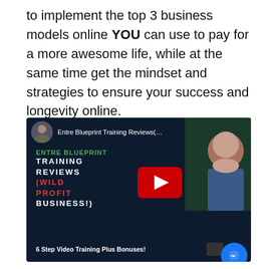to implement the top 3 business models online YOU can use to pay for a more awesome life, while at the same time get the mindset and strategies to ensure your success and longevity online.
[Figure (screenshot): YouTube video thumbnail for 'Entre Blueprint Training Reviews(... (WILD PROFIT BUSINESS!)' with green and white text overlay on dark navy background, a red YouTube play button in center, channel avatar top left, person thumbnail top right, and '6 Step Video Training Plus Bonuses!' text at bottom. A Viral logo and blue Messenger chat bubble appear in bottom right.]